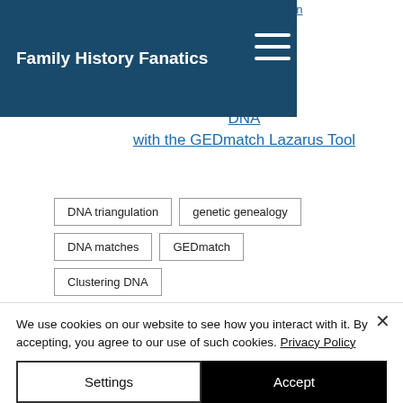Family History Fanatics
s on
DNA with the GEDmatch Lazarus Tool
DNA triangulation
genetic genealogy
DNA matches
GEDmatch
Clustering DNA
DNA
We use cookies on our website to see how you interact with it. By accepting, you agree to our use of such cookies. Privacy Policy
Settings
Accept